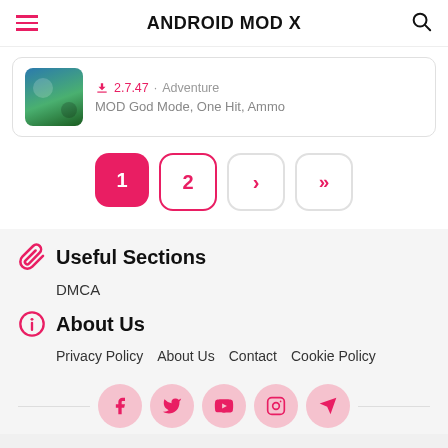ANDROID MOD X
2.7.47 · Adventure
MOD God Mode, One Hit, Ammo
1 2 > >>
Useful Sections
DMCA
About Us
Privacy Policy   About Us   Contact   Cookie Policy
Social icons: Facebook, Twitter, YouTube, Instagram, Telegram